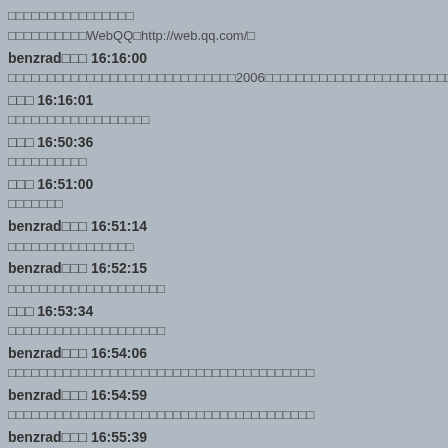□□□□□□□□□□□□□□□□
□□□□□□□□□□WebQQ□http://web.qq.com/□
benzrad□□□ 16:16:00
□□□□□□□□□□□□□□□□□□□□□□□□□□□□□2006□□□□□□□□□□□□□□□□□□□□□□□□□□□□□□□□□□□□□□□□□□□□□□□□□□□□□□□□□□□□□□□□□□□□□□□□□□□□□□□□□□□□□□□□□□□□□□□□□□□□□□□
□□□ 16:16:01
□□□□□□□□□□□□□□□□□□
□□□ 16:50:36
□□□□□□□□□□
□□□ 16:51:00
□□□□□□□
benzrad□□□ 16:51:14
□□□□□□□□□□□□□□□□
benzrad□□□ 16:52:15
□□□□□□□□□□□□□□□□□□□□
□□□ 16:53:34
□□□□□□□□□□□□□□□□□□□□
benzrad□□□ 16:54:06
□□□□□□□□□□□□□□□□□□□□□□□□□□□□□□□□□□□□□□□
benzrad□□□ 16:54:59
□□□□□□□□□□□□□□□□□□□□□□□□□□□□□□□□□□□□□□□
benzrad□□□ 16:55:39